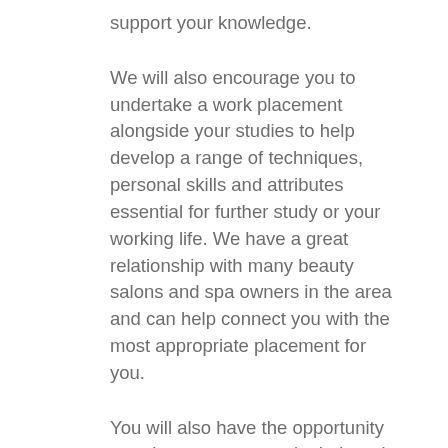support your knowledge.
We will also encourage you to undertake a work placement alongside your studies to help develop a range of techniques, personal skills and attributes essential for further study or your working life. We have a great relationship with many beauty salons and spa owners in the area and can help connect you with the most appropriate placement for you.
You will also have the opportunity to train at our two on-site hair and beauty salons – Images and Visions – where you will offer services to members of the public under professional supervision.